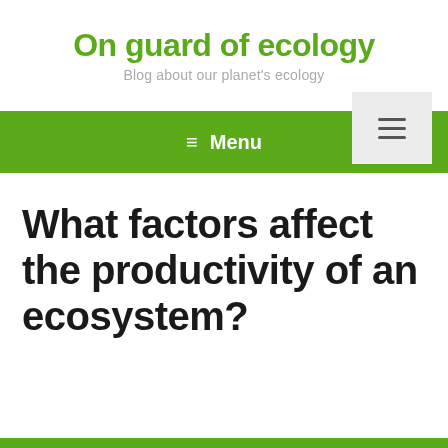On guard of ecology
Blog about our planet's ecology
[Figure (screenshot): Hamburger menu icon (three horizontal lines) on a light grey background, positioned at top right]
≡ Menu
What factors affect the productivity of an ecosystem?